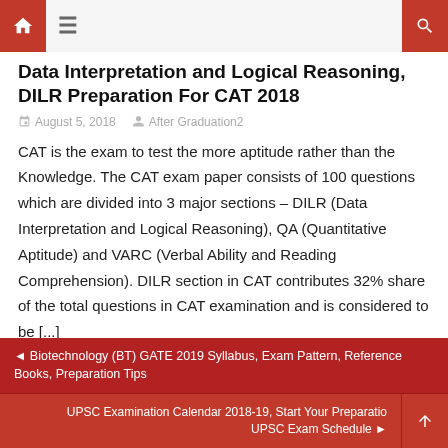Home | Menu | Search
Data Interpretation and Logical Reasoning, DILR Preparation For CAT 2018
August 5, 2018  After Graduation2
CAT is the exam to test the more aptitude rather than the Knowledge. The CAT exam paper consists of 100 questions which are divided into 3 major sections – DILR (Data Interpretation and Logical Reasoning), QA (Quantitative Aptitude) and VARC (Verbal Ability and Reading Comprehension). DILR section in CAT contributes 32% share of the total questions in CAT examination and is considered to be [...]
◄ Biotechnology (BT) GATE 2019 Syllabus, Exam Pattern, Reference Books, Preparation Tips
UPSC Examination Calendar 2018-19, Start Your Preparatio UPSC Exam Schedule ►